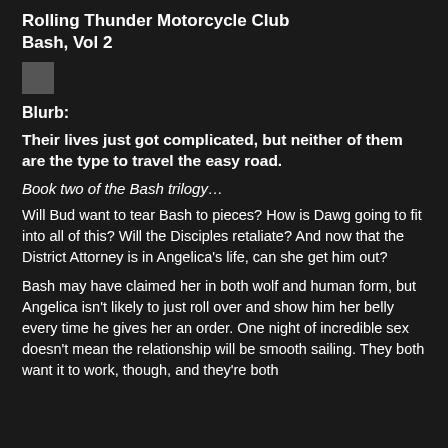Rolling Thunder Motorcycle Club Bash, Vol 2
[Figure (photo): Small thumbnail image of book cover]
Blurb:
Their lives just got complicated, but neither of them are the type to travel the easy road.
Book two of the Bash trilogy…
Will Bud want to tear Bash to pieces? How is Dawg going to fit into all of this? Will the Disciples retaliate? And now that the District Attorney is in Angelica's life, can she get him out?
Bash may have claimed her in both wolf and human form, but Angelica isn't likely to just roll over and show him her belly every time he gives her an order. One night of incredible sex doesn't mean the relationship will be smooth sailing. They both want it to work, though, and they're both